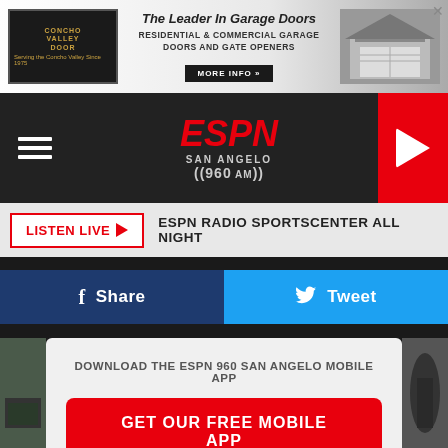[Figure (photo): Concho Valley Door advertisement — The Leader In Garage Doors banner ad with logo, text, and garage door image]
ESPN San Angelo ((960 AM))
LISTEN LIVE ▶  ESPN RADIO SPORTSCENTER ALL NIGHT
f Share  🐦 Tweet
DOWNLOAD THE ESPN 960 SAN ANGELO MOBILE APP
GET OUR FREE MOBILE APP
Also listen on:  amazon alexa